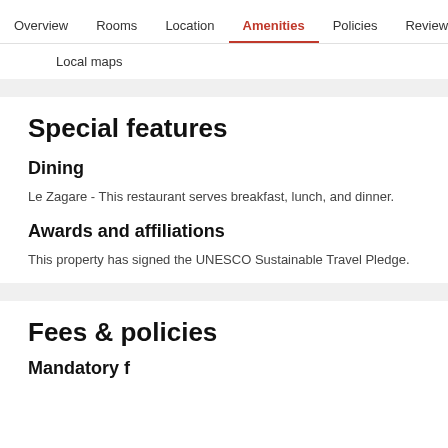Overview   Rooms   Location   Amenities   Policies   Reviews
Local maps
Special features
Dining
Le Zagare - This restaurant serves breakfast, lunch, and dinner.
Awards and affiliations
This property has signed the UNESCO Sustainable Travel Pledge.
Fees & policies
Mandatory fees